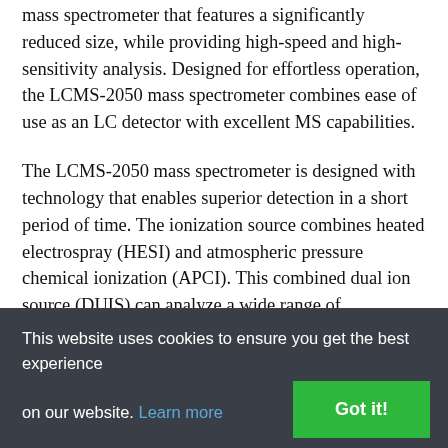mass spectrometer that features a significantly reduced size, while providing high-speed and high-sensitivity analysis. Designed for effortless operation, the LCMS-2050 mass spectrometer combines ease of use as an LC detector with excellent MS capabilities.
The LCMS-2050 mass spectrometer is designed with technology that enables superior detection in a short period of time. The ionization source combines heated electrospray (HESI) and atmospheric pressure chemical ionization (APCI). This combined dual ion source (DUIS) can analyze a wide range of compounds from multiple chemical classes. Ultrafast technology, including a 15,000 u/sec scan speed and polarity switching time of 10 msec, maintains high data quality while improving overall throughput.
This website uses cookies to ensure you get the best experience on our website. Learn more